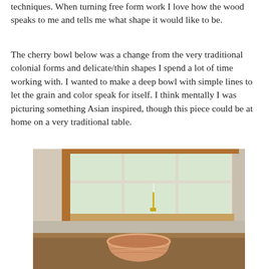techniques. When turning free form work I love how the wood speaks to me and tells me what shape it would like to be.
The cherry bowl below was a change from the very traditional colonial forms and delicate/thin shapes I spend a lot of time working with. I wanted to make a deep bowl with simple lines to let the grain and color speak for itself. I think mentally I was picturing something Asian inspired, though this piece could be at home on a very traditional table.
[Figure (photo): A wooden cherry bowl sitting on a wooden table in front of a white multi-pane window. A small candle holder is visible on the window sill. The room has warm wood trim and neutral walls.]